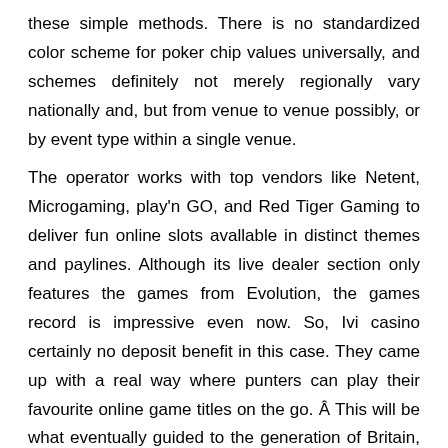these simple methods. There is no standardized color scheme for poker chip values universally, and schemes definitely not merely regionally vary nationally and, but from venue to venue possibly, or by event type within a single venue.
The operator works with top vendors like Netent, Microgaming, play'n GO, and Red Tiger Gaming to deliver fun online slots avallable in distinct themes and paylines. Although its live dealer section only features the games from Evolution, the games record is impressive even now. So, Ivi casino certainly no deposit benefit in this case. They came up with a real way where punters can play their favourite online game titles on the go. Â This will be what eventually guided to the generation of Britain, Nova scotia on the web portable gambling house web sites, and since ever, mobile phone wagering features only ended up receiving far better over moment kudos to the assist